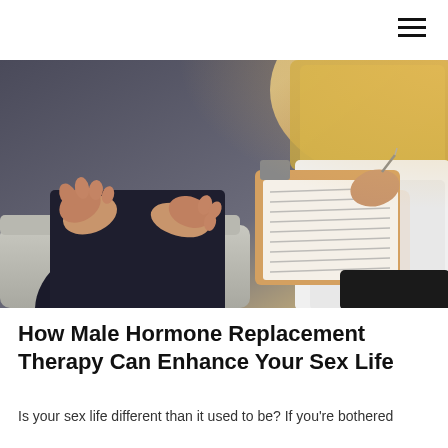[Figure (photo): A patient gesturing with hands while a healthcare provider in a white coat holds a clipboard and pen, sitting in a consultation setting with a yellow pillow in the background.]
How Male Hormone Replacement Therapy Can Enhance Your Sex Life
Is your sex life different than it used to be? If you're bothered